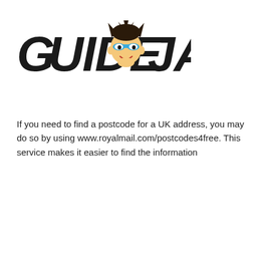[Figure (logo): GuideJack logo — bold stylized text 'GUIDE JACK' with a cartoon masked superhero boy character between the two words]
If you need to find a postcode for a UK address, you may do so by using www.royalmail.com/postcodes4free. This service makes it easier to find the information